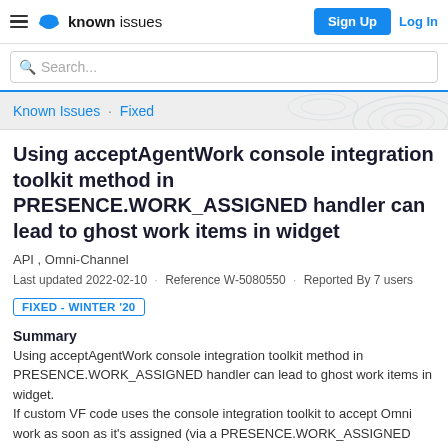known issues | Sign Up | Log In
Search...
Known Issues · Fixed
Using acceptAgentWork console integration toolkit method in PRESENCE.WORK_ASSIGNED handler can lead to ghost work items in widget
API , Omni-Channel
Last updated 2022-02-10  ·  Reference W-5080550  ·  Reported By 7 users
FIXED - WINTER '20
Summary
Using acceptAgentWork console integration toolkit method in PRESENCE.WORK_ASSIGNED handler can lead to ghost work items in widget.
If custom VF code uses the console integration toolkit to accept Omni work as soon as it's assigned (via a PRESENCE.WORK_ASSIGNED